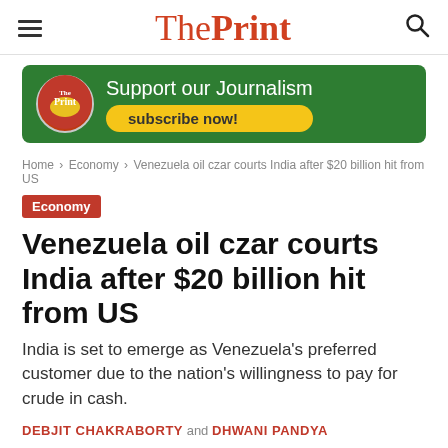The Print
[Figure (infographic): The Print advertisement banner: green background with circular logo on left, text 'Support our Journalism' and yellow pill button 'subscribe now!']
Home › Economy › Venezuela oil czar courts India after $20 billion hit from US
Economy
Venezuela oil czar courts India after $20 billion hit from US
India is set to emerge as Venezuela's preferred customer due to the nation's willingness to pay for crude in cash.
DEBJIT CHAKRABORTY and DHWANI PANDYA